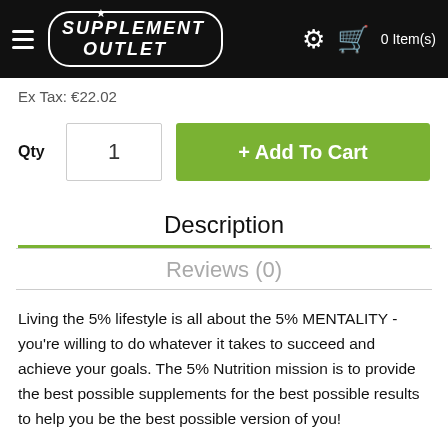Supplement Outlet — 0 Item(s)
Ex Tax: €22.02
Qty  1  + Add To Cart
Description
Reviews (0)
Living the 5% lifestyle is all about the 5% MENTALITY - you're willing to do whatever it takes to succeed and achieve your goals. The 5% Nutrition mission is to provide the best possible supplements for the best possible results to help you be the best possible version of you!